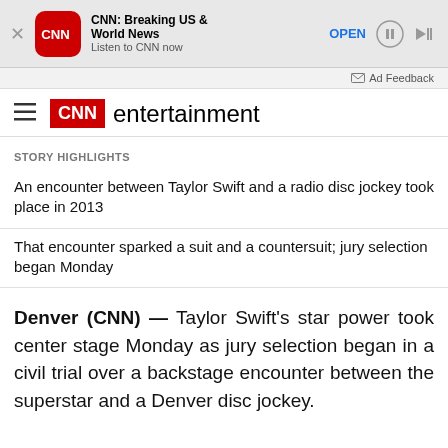[Figure (screenshot): CNN app advertisement banner with CNN logo, title 'CNN: Breaking US & World News', subtitle 'Listen to CNN now', and an OPEN button]
Ad Feedback
CNN entertainment
STORY HIGHLIGHTS
An encounter between Taylor Swift and a radio disc jockey took place in 2013
That encounter sparked a suit and a countersuit; jury selection began Monday
Denver (CNN) — Taylor Swift's star power took center stage Monday as jury selection began in a civil trial over a backstage encounter between the superstar and a Denver disc jockey.